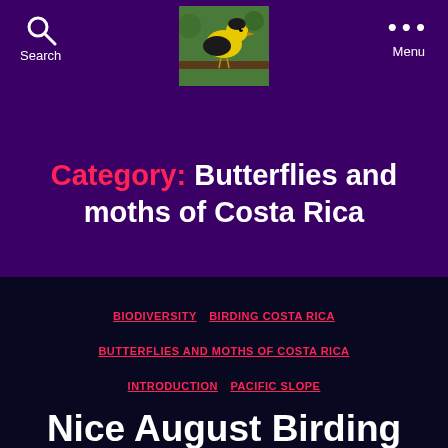Search  Menu
[Figure (photo): A yellow and black bird perched on a branch, likely a tanager or similar tropical bird species from Costa Rica]
Category: Butterflies and moths of Costa Rica
BIODIVERSITY  BIRDING COSTA RICA  BUTTERFLIES AND MOTHS OF COSTA RICA  INTRODUCTION  PACIFIC SLOPE
Nice August Birding (and Butterflies) on the Bijagual Road